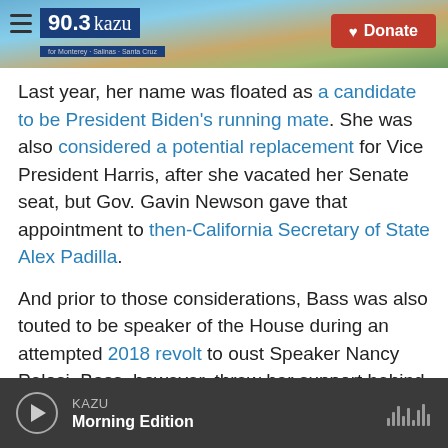90.3 KAZU | Donate
Last year, her name was floated as a candidate to be President Biden's running mate. She was also considered a potential replacement for Vice President Harris, after she vacated her Senate seat, but Gov. Gavin Newson gave that appointment to then-California Secretary of State Alex Padilla.
And prior to those considerations, Bass was also touted to be speaker of the House during an attempted 2018 revolt to oust Speaker Nancy Pelosi. Bass, however, threw her support behind Pelosi.
KAZU Morning Edition